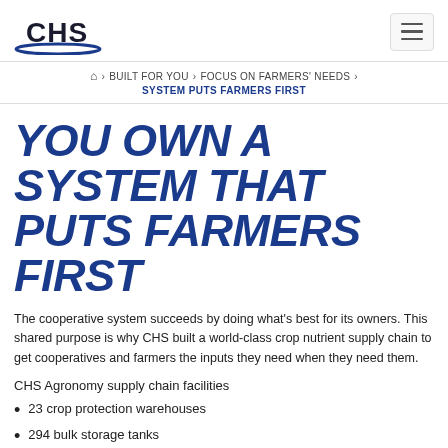CHS logo | hamburger menu
Home > BUILT FOR YOU > FOCUS ON FARMERS' NEEDS > SYSTEM PUTS FARMERS FIRST
YOU OWN A SYSTEM THAT PUTS FARMERS FIRST
The cooperative system succeeds by doing what's best for its owners. This shared purpose is why CHS built a world-class crop nutrient supply chain to get cooperatives and farmers the inputs they need when they need them.
CHS Agronomy supply chain facilities
23 crop protection warehouses
294 bulk storage tanks